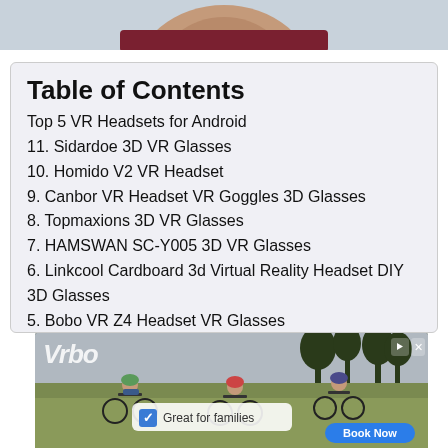[Figure (photo): Partial view of a person's face/upper body from a photo, cropped at top of page]
Table of Contents
Top 5 VR Headsets for Android
11. Sidardoe 3D VR Glasses
10. Homido V2 VR Headset
9. Canbor VR Headset VR Goggles 3D Glasses
8. Topmaxions 3D VR Glasses
7. HAMSWAN SC-Y005 3D VR Glasses
6. Linkcool Cardboard 3d Virtual Reality Headset DIY 3D Glasses
5. Bobo VR Z4 Headset VR Glasses
4. VR SHINECON 3D VR Goggles VR Glasses
3. Bnext Virtual Reality Headset
[Figure (screenshot): Vrbo advertisement banner showing cyclists riding outdoors with text 'Great for families' and a 'Book Now' button]